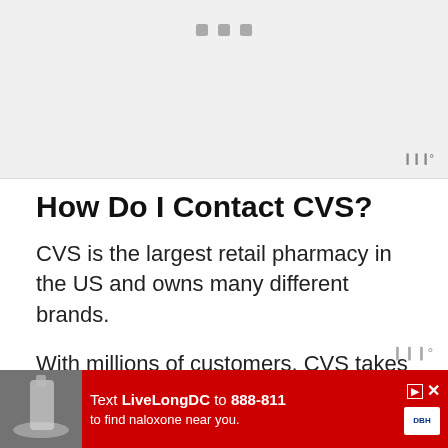[Figure (other): Gray placeholder image area at top of page with three small square dots/pagination indicators and a small wordmark symbol at lower right]
How Do I Contact CVS?
CVS is the largest retail pharmacy in the US and owns many different brands.
With millions of customers, CVS takes care to provide many different m...
[Figure (infographic): Red advertisement bar at bottom: Text LiveLongDC to 888-811 to find naloxone near you. DBH logo and government agency text visible.]